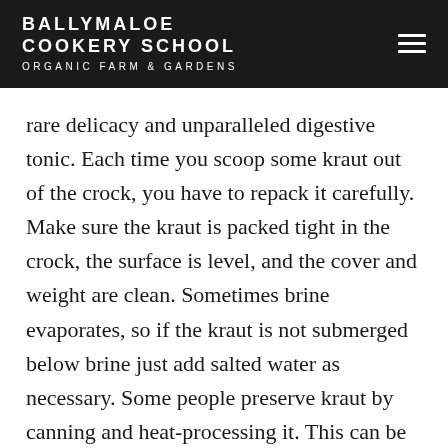BALLYMALOE COOKERY SCHOOL ORGANIC FARM & GARDENS
rare delicacy and unparalleled digestive tonic. Each time you scoop some kraut out of the crock, you have to repack it carefully. Make sure the kraut is packed tight in the crock, the surface is level, and the cover and weight are clean. Sometimes brine evaporates, so if the kraut is not submerged below brine just add salted water as necessary. Some people preserve kraut by canning and heat-processing it. This can be done; but so much of the power of sauerkraut is its aliveness that I wonder: Why kill it?